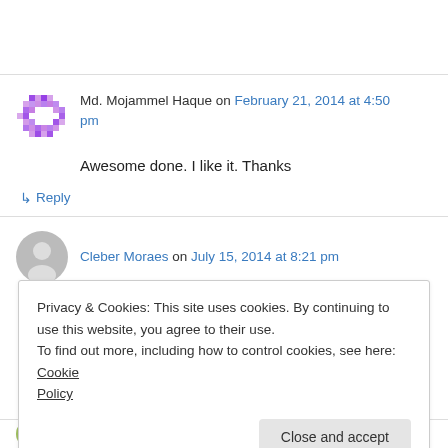Md. Mojammel Haque on February 21, 2014 at 4:50 pm
Awesome done. I like it. Thanks
↳ Reply
Cleber Moraes on July 15, 2014 at 8:21 pm
Privacy & Cookies: This site uses cookies. By continuing to use this website, you agree to their use.
To find out more, including how to control cookies, see here: Cookie Policy
Close and accept